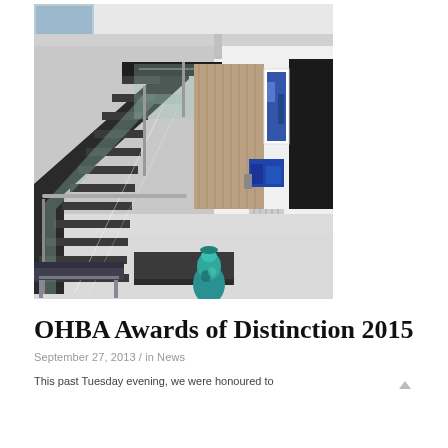[Figure (photo): Interior photo of a modern home showing a floating staircase with glass railings, marble floors, a bench seat, a teal decorative vase, and a view into a living area with blue chairs and artwork on a white wall.]
OHBA Awards of Distinction 2015
September 27, 2013 / in News
This past Tuesday evening, we were honoured to